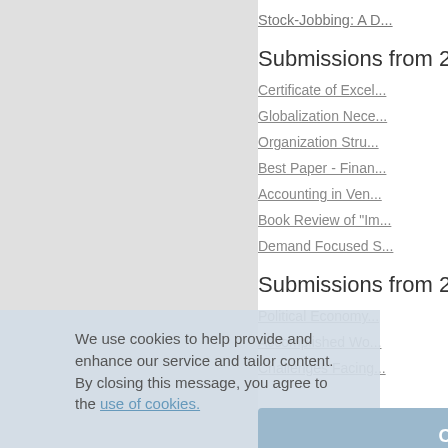Stock-Jobbing: A D...
Submissions from 2...
Certificate of Excel...
Globalization Nece...
Organization Stru...
Best Paper - Finan...
Accounting in Ven...
Book Review of "Im...
Demand Focused S...
Submissions from 2...
Political Economy...
Accomplished Wo...
Challenges Facing...
We use cookies to help provide and enhance our service and tailor content. By closing this message, you agree to the use of cookies.
Close